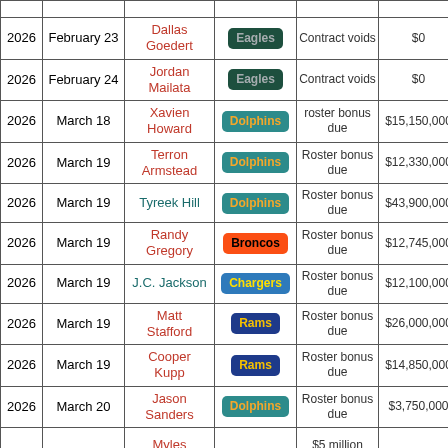| Year | Date | Player | Team | Event | Amount |
| --- | --- | --- | --- | --- | --- |
| 2026 | February 23 | Dallas Goedert | Eagles | Contract voids | $0 |
| 2026 | February 24 | Jordan Mailata | Eagles | Contract voids | $0 |
| 2026 | March 18 | Xavien Howard | Dolphins | roster bonus due | $15,150,000 |
| 2026 | March 19 | Terron Armstead | Dolphins | Roster bonus due | $12,330,000 |
| 2026 | March 19 | Tyreek Hill | Dolphins | Roster bonus due | $43,900,000 |
| 2026 | March 19 | Randy Gregory | Broncos | Roster bonus due | $12,745,000 |
| 2026 | March 19 | J.C. Jackson | Chargers | Roster bonus due | $12,100,000 |
| 2026 | March 19 | Matt Stafford | Rams | Roster bonus due | $26,000,000 |
| 2026 | March 19 | Cooper Kupp | Rams | Roster bonus due | $14,850,000 |
| 2026 | March 20 | Jason Sanders | Dolphins | Roster bonus due | $3,750,000 |
|  |  | Myles... |  | $5 million |  |